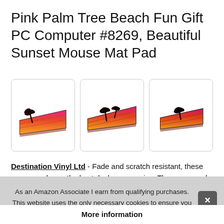Pink Palm Tree Beach Fun Gift PC Computer #8269, Beautiful Sunset Mouse Mat Pad
[Figure (photo): Three product images of a mouse pad showing a pink/orange tropical sunset scene with palm tree silhouettes, shown from different angles]
Destination Vinyl Ltd - Fade and scratch resistant, these mouse pads are the best desk accessories. The mousepad is soft and flexible, made of 5mm thick squeezable black foam and offers...
As an Amazon Associate I earn from qualifying purchases. This website uses the only necessary cookies to ensure you get the best experience on our website. More information
More information